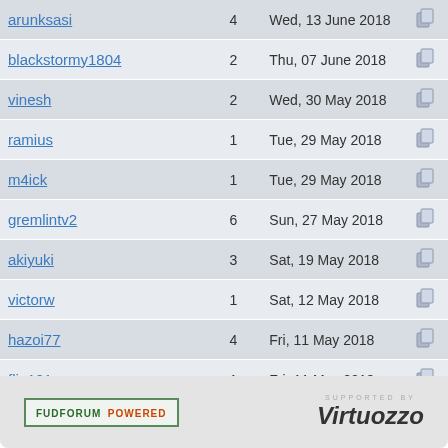| Username | Posts | Last Post |  |
| --- | --- | --- | --- |
| arunksasi | 4 | Wed, 13 June 2018 |  |
| blackstormy1804 | 2 | Thu, 07 June 2018 |  |
| vinesh | 2 | Wed, 30 May 2018 |  |
| ramius | 1 | Tue, 29 May 2018 |  |
| m4ick | 1 | Tue, 29 May 2018 |  |
| gremlintv2 | 6 | Sun, 27 May 2018 |  |
| akiyuki | 3 | Sat, 19 May 2018 |  |
| victorw | 1 | Sat, 12 May 2018 |  |
| hazoi77 | 4 | Fri, 11 May 2018 |  |
| flip101 | 1 | Fri, 11 May 2018 |  |
Pages (131): [1 2 3 4 5 6 7 8 9 10 11 12 13 14 15 › »]
Current Time: Sun Aug 21 20:48:13 GMT 2022
Total time taken to generate the page: 0.00887 seconds
[Figure (logo): FUDforum Powered badge and Virtuozzo logo in footer]